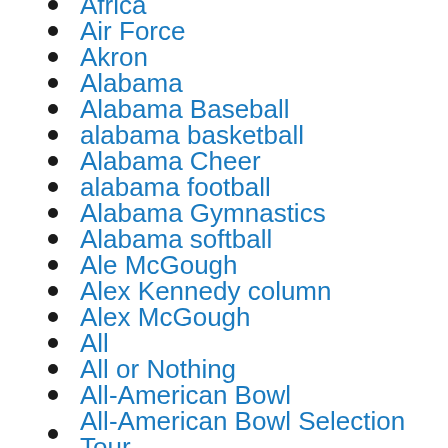Africa
Air Force
Akron
Alabama
Alabama Baseball
alabama basketball
Alabama Cheer
alabama football
Alabama Gymnastics
Alabama softball
Ale McGough
Alex Kennedy column
Alex McGough
All
All or Nothing
All-American Bowl
All-American Bowl Selection Tour